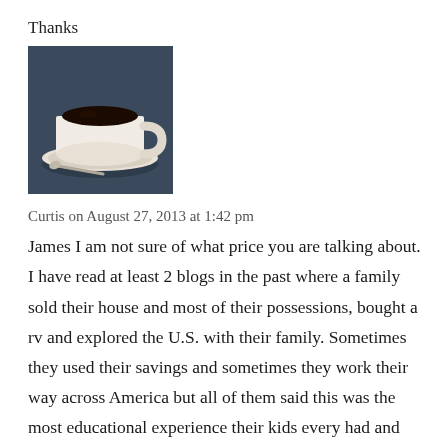Thanks
[Figure (photo): A white coffee cup with black coffee on a saucer with a spoon, photographed from above on a dark surface.]
Curtis on August 27, 2013 at 1:42 pm
James I am not sure of what price you are talking about. I have read at least 2 blogs in the past where a family sold their house and most of their possessions, bought a rv and explored the U.S. with their family. Sometimes they used their savings and sometimes they work their way across America but all of them said this was the most educational experience their kids every had and they would not go back to the stress of the so called American Dream if they could help it.